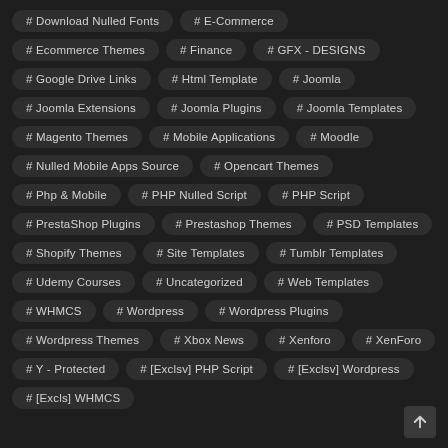# Download Nulled Fonts
# E-Commerce
# Ecommerce Themes
# Finance
# GFX - DESIGNS
# Google Drive Links
# Html Template
# Joomla
# Joomla Extensions
# Joomla Plugins
# Joomla Templates
# Magento Themes
# Mobile Applications
# Moodle
# Nulled Mobile Apps Source
# Opencart Themes
# Php & Mobile
# PHP Nulled Script
# PHP Script
# PrestaShop Plugins
# Prestashop Themes
# PSD Templates
# Shopify Themes
# Site Templates
# Tumblr Templates
# Udemy Courses
# Uncategorized
# Web Templates
# WHMCS
# Wordpress
# Wordpress Plugins
# Wordpress Themes
# Xbox News
# Xenforo
# XenForo
# Y - Protected
# [Exclsv] PHP Script
# [Exclsv] Wordpress
# [Excls] WHMCS